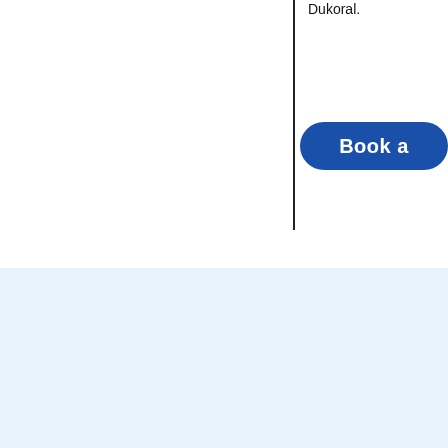Dukoral.
[Figure (other): Blue rounded button with white text reading 'Book a']
How often do I need to
What types of vaccines